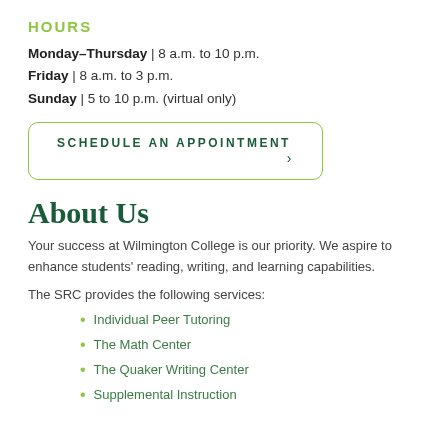HOURS
Monday–Thursday | 8 a.m. to 10 p.m.
Friday | 8 a.m. to 3 p.m.
Sunday | 5 to 10 p.m. (virtual only)
SCHEDULE AN APPOINTMENT >
About Us
Your success at Wilmington College is our priority. We aspire to enhance students' reading, writing, and learning capabilities.
The SRC provides the following services:
Individual Peer Tutoring
The Math Center
The Quaker Writing Center
Supplemental Instruction